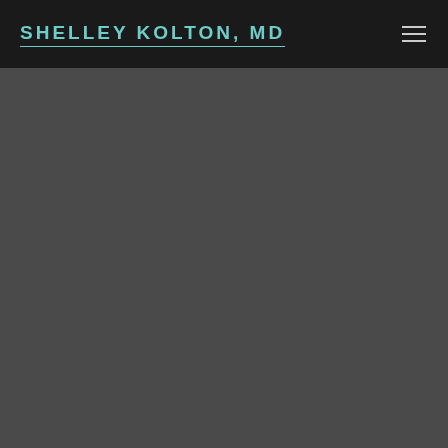SHELLEY KOLTON, MD
[Figure (other): Dark gray background content area, appears to be a website page body with no visible content loaded]